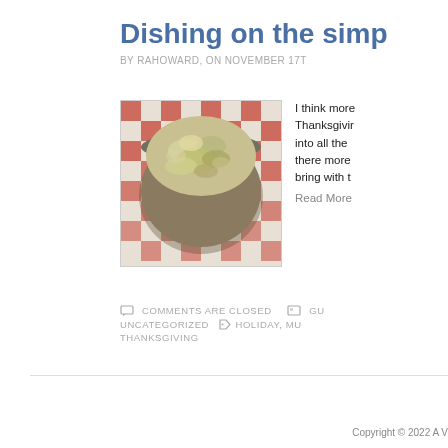Dishing on the simp
BY RAHOWARD, ON NOVEMBER 17T
[Figure (photo): A bowl of mushroom and cabbage salad or dish on a red checkered tablecloth background]
I think more Thanksgiving into all the there more bring with t
Read More
COMMENTS ARE CLOSED  GU
UNCATEGORIZED  HOLIDAY, MU
THANKSGIVING
Copyright © 2022 A V